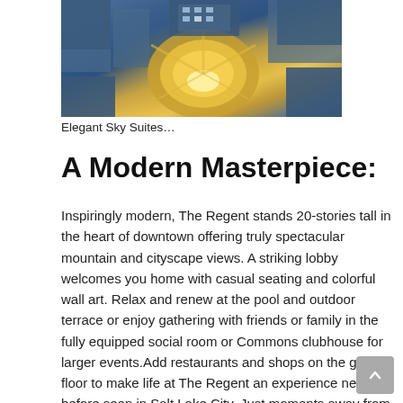[Figure (photo): Aerial night view of a circular, glowing modern building complex surrounded by city blocks, with warm golden lighting illuminating the central rotunda structure]
Elegant Sky Suites…
A Modern Masterpiece:
Inspiringly modern, The Regent stands 20-stories tall in the heart of downtown offering truly spectacular mountain and cityscape views. A striking lobby welcomes you home with casual seating and colorful wall art. Relax and renew at the pool and outdoor terrace or enjoy gathering with friends or family in the fully equipped social room or Commons clubhouse for larger events.Add restaurants and shops on the ground floor to make life at The Regent an experience never before seen in Salt Lake City. Just moments away from memories, music, mountains and more, The Regent lets you